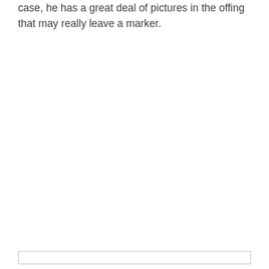case, he has a great deal of pictures in the offing that may really leave a marker.